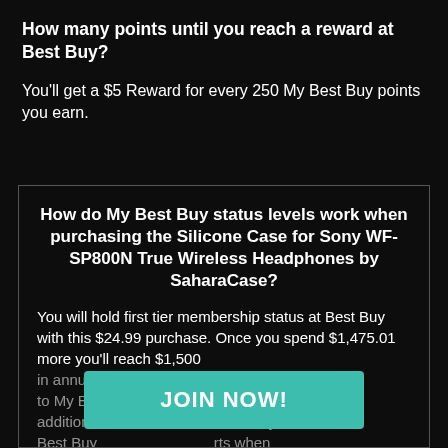How many points until you reach a reward at Best Buy?
You'll get a $5 Reward for every 250 My Best Buy points you earn.
How do My Best Buy status levels work when purchasing the Silicone Case for Sony WF-SP800N True Wireless Headphones by SaharaCase?
You will hold first tier membership status at Best Buy with this $24.99 purchase. Once you spend $1,475.01 more you'll reach $1,500 in annual... upgraded to My Bes... pend an additional... ded to My Best Buy ... rts when
JOIN NOW!